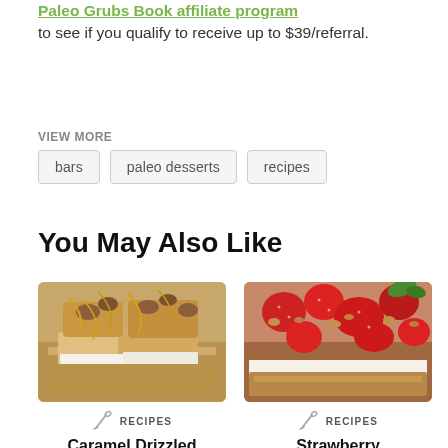Paleo Grubs Book affiliate program to see if you qualify to receive up to $39/referral.
VIEW MORE
bars
paleo desserts
recipes
You May Also Like
[Figure (photo): Photo of caramel drizzled dessert bars with nuts on white plate]
RECIPES
Caramel Drizzled
[Figure (photo): Photo of strawberry crumble bars on wooden board]
RECIPES
Strawberry